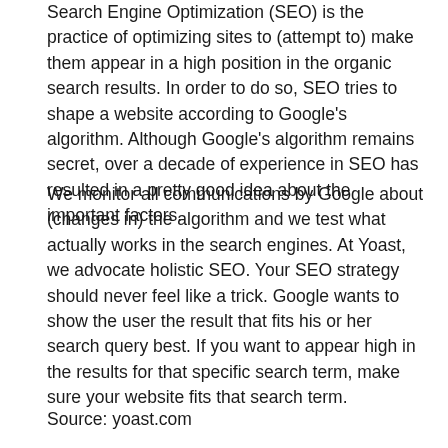Search Engine Optimization (SEO) is the practice of optimizing sites to (attempt to) make them appear in a high position in the organic search results. In order to do so, SEO tries to shape a website according to Google's algorithm. Although Google's algorithm remains secret, over a decade of experience in SEO has resulted in a pretty good idea about the important factors.
We monitor all communications by Google about (changes in) the algorithm and we test what actually works in the search engines. At Yoast, we advocate holistic SEO. Your SEO strategy should never feel like a trick. Google wants to show the user the result that fits his or her search query best. If you want to appear high in the results for that specific search term, make sure your website fits that search term.
Source: yoast.com